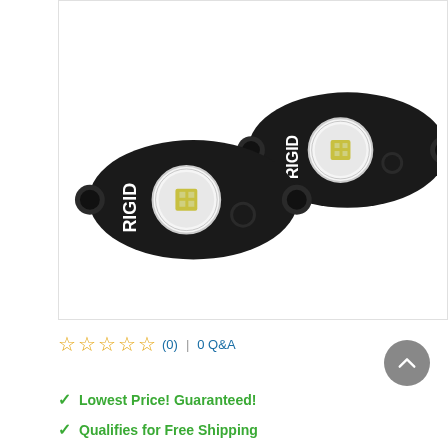[Figure (photo): Two black oval RIGID brand LED rock lights with circular LED modules in the center, shown on a white background]
☆☆☆☆☆ (0) | 0 Q&A
✓ Lowest Price! Guaranteed!
✓ Qualifies for Free Shipping